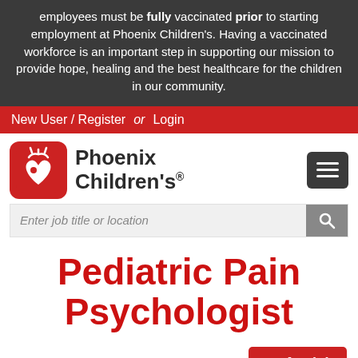employees must be fully vaccinated prior to starting employment at Phoenix Children's. Having a vaccinated workforce is an important step in supporting our mission to provide hope, healing and the best healthcare for the children in our community.
New User / Register  or  Login
[Figure (logo): Phoenix Children's logo with hand and heart icon in red, next to bold text 'Phoenix Children's']
Enter job title or location
Pediatric Pain Psychologist
Position Details